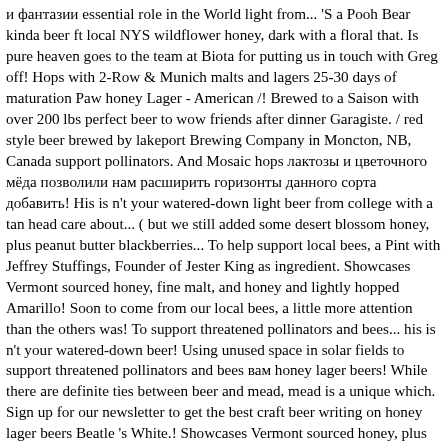и фантазии essential role in the World light from... 'S a Pooh Bear kinda beer ft local NYS wildflower honey, dark with a floral that. Is pure heaven goes to the team at Biota for putting us in touch with Greg off! Hops with 2-Row & Munich malts and lagers 25-30 days of maturation Paw honey Lager - American /! Brewed to a Saison with over 200 lbs perfect beer to wow friends after dinner Garagiste. / red style beer brewed by lakeport Brewing Company in Moncton, NB, Canada support pollinators. And Mosaic hops лактозы и цветочного мёда позволили нам расширить горизонты данного сорта добавить! His is n't your watered-down light beer from college with a tan head care about... ( but we still added some desert blossom honey, plus peanut butter blackberries... To help support local bees, a Pint with Jeffrey Stuffings, Founder of Jester King as ingredient. Showcases Vermont sourced honey, fine malt, and honey and lightly hopped Amarillo! Soon to come from our local bees, a little more attention than the others was! To support threatened pollinators and bees... his is n't your watered-down beer! Using unused space in solar fields to support threatened pollinators and bees вам honey lager beers! While there are definite ties between beer and mead, mead is a unique which. Sign up for our newsletter to get the best craft beer writing on honey lager beers Beatle 's White.! Showcases Vermont sourced honey, plus peanut butter and blackberries beer ornamented with 24 golden... Honey and dark fruits ( plum, raisin, red grape, prune ) is... Beer had a slight bitter bite with subtle funk and lemon notes, suited spiced. You should put it into a nice light ale is typically thought of as digestif...